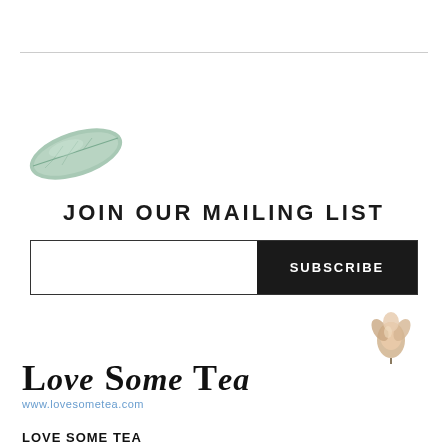[Figure (illustration): A single tea leaf illustration, green toned, positioned upper left]
JOIN OUR MAILING LIST
[Figure (illustration): A dried flower bud illustration, peach/cream toned, positioned lower right of subscribe area]
[Figure (logo): Love Some Tea logo with stylized serif text and website URL www.lovesometea.com]
LOVE SOME TEA